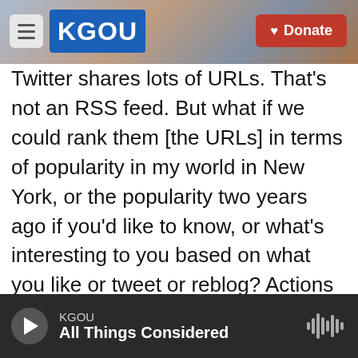KGOU — Donate
Twitter shares lots of URLs. That's not an RSS feed. But what if we could rank them [the URLs] in terms of popularity in my world in New York, or the popularity two years ago if you'd like to know, or what's interesting to you based on what you like or tweet or reblog? Actions are an indication of what you find interesting. We're thinking around an uncluttered reading experience plus a bunch of other things. Distilling, sorting, ranking to make better use of your time. Flipboard, which I really like, creates that magazine browsing experience. Digg is trying to focus on reading and videos. We're not trying to make a gorgeous experience but a
KGOU — All Things Considered